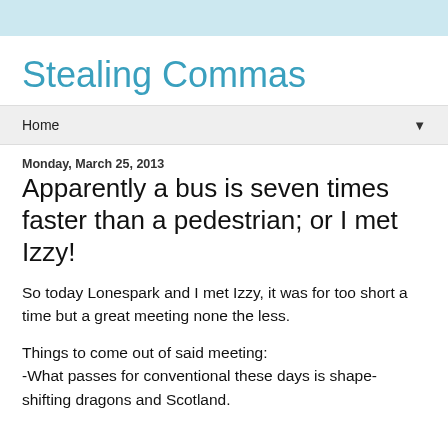Stealing Commas
Home
Monday, March 25, 2013
Apparently a bus is seven times faster than a pedestrian; or I met Izzy!
So today Lonespark and I met Izzy, it was for too short a time but a great meeting none the less.
Things to come out of said meeting:
-What passes for conventional these days is shape-shifting dragons and Scotland.